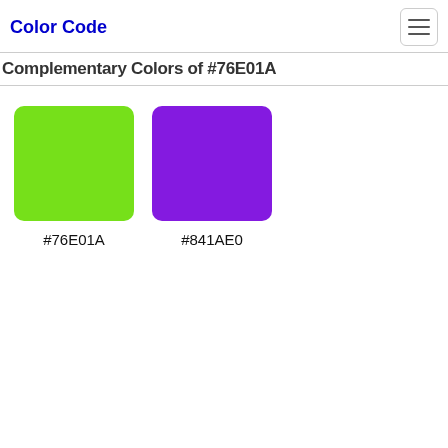Color Code
Complementary Colors of #76E01A
[Figure (illustration): Two color swatches shown side by side: a bright green square labeled #76E01A and a purple square labeled #841AE0, demonstrating complementary colors.]
#76E01A
#841AE0